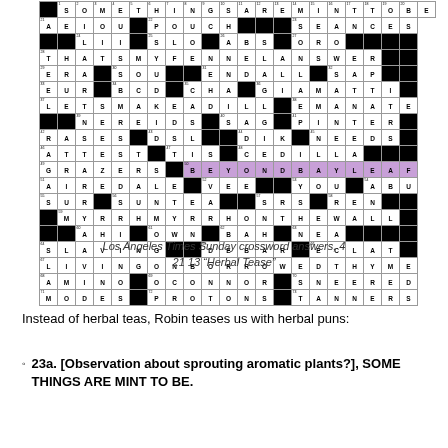[Figure (other): Crossword puzzle grid showing Los Angeles Times Sunday crossword answers for 'Herbal Tease', with filled-in answers including SOMETHINGSAREMINTTOBE, AEIOU, POUCH, SEANCES, LII, SLO, ABS, ORO, THATSMYFENNELANSWER, ERA, SOU, ENDALL, SAP, EUR, BCD, CHA, GIAMATTI, LETSMAAKEADILL, EMANATE, NEREIDS, SAG, PINTER, RASES, DSL, DIK, NEEDS, ATTEST, TIS, CEDILLA, GRAZERS, BEYONDBAYLEAF (highlighted in purple), AIREDALE, VEE, YOU, ABU, SUR, SUNTEA, SRS, REN, MYRRHMYRRHONTHEWALL, AHI, OWN, BAH, NEA, SLAVING, DEBAR, ECLAT, LIVINGONBORROWEDTHYME, AMINO, OCONNOR, SNEERED, MODES, PROTONS, TANNERS]
Los Angeles Times Sunday crossword answers, 4
21 13 "Herbal Tease"
Instead of herbal teas, Robin teases us with herbal puns:
23a. [Observation about sprouting aromatic plants?], SOME THINGS ARE MINT TO BE.